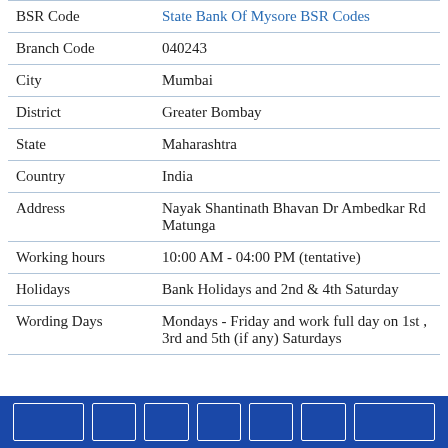| Field | Value |
| --- | --- |
| BSR Code | State Bank Of Mysore BSR Codes |
| Branch Code | 040243 |
| City | Mumbai |
| District | Greater Bombay |
| State | Maharashtra |
| Country | India |
| Address | Nayak Shantinath Bhavan Dr Ambedkar Rd Matunga |
| Working hours | 10:00 AM - 04:00 PM (tentative) |
| Holidays | Bank Holidays and 2nd & 4th Saturday |
| Wording Days | Mondays - Friday and work full day on 1st , 3rd and 5th (if any) Saturdays |
[navigation bar with buttons]